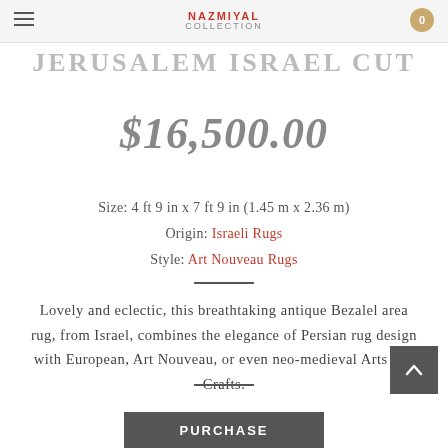NAZMIYAE COLLECTION
JERUSALEM ISRAEL CUT
$16,500.00
Size: 4 ft 9 in x 7 ft 9 in (1.45 m x 2.36 m)
Origin: Israeli Rugs
Style: Art Nouveau Rugs
Lovely and eclectic, this breathtaking antique Bezalel area rug, from Israel, combines the elegance of Persian rug design with European, Art Nouveau, or even neo-medieval Arts and Crafts.
PURCHASE